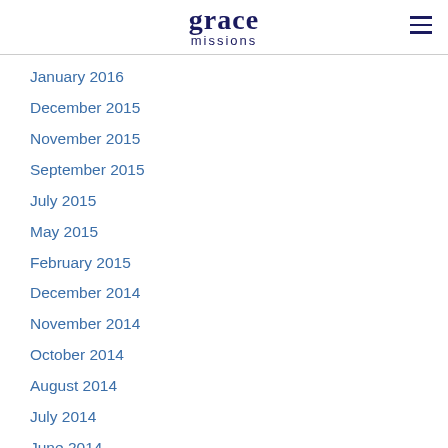grace missions
January 2016
December 2015
November 2015
September 2015
July 2015
May 2015
February 2015
December 2014
November 2014
October 2014
August 2014
July 2014
June 2014
May 2014
April 2014
March 2014